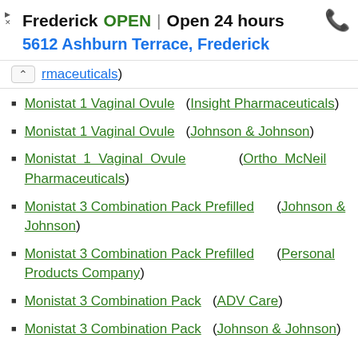[Figure (screenshot): Ad banner for Frederick pharmacy location showing OPEN status, Open 24 hours, address 5612 Ashburn Terrace Frederick, and phone icon]
rmaceuticals)
Monistat 1 Vaginal Ovule  (Insight Pharmaceuticals)
Monistat 1 Vaginal Ovule  (Johnson & Johnson)
Monistat 1 Vaginal Ovule  (Ortho McNeil Pharmaceuticals)
Monistat 3 Combination Pack Prefilled  (Johnson & Johnson)
Monistat 3 Combination Pack Prefilled  (Personal Products Company)
Monistat 3 Combination Pack  (ADV Care)
Monistat 3 Combination Pack  (Johnson & Johnson)